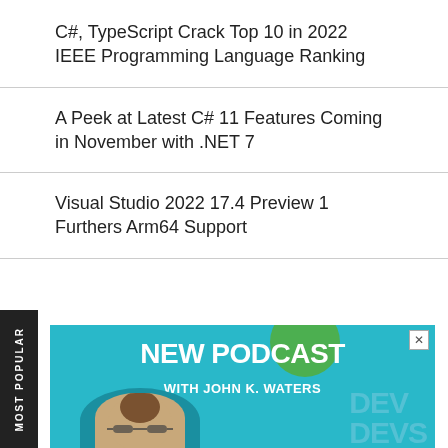C#, TypeScript Crack Top 10 in 2022 IEEE Programming Language Ranking
A Peek at Latest C# 11 Features Coming in November with .NET 7
Visual Studio 2022 17.4 Preview 1 Furthers Arm64 Support
[Figure (illustration): Advertisement banner for 'New Podcast with John K. Waters' on a teal background, showing a man with glasses, a green circle graphic, and 'DEV' watermark text. Includes a close (X) button in upper right corner.]